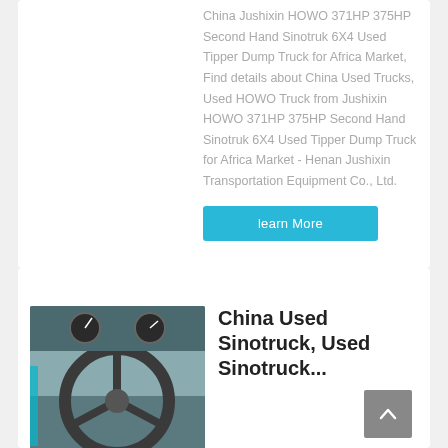China Jushixin HOWO 371HP 375HP Second Hand Sinotruk 6X4 Used Tipper Dump Truck for Africa Market, Find details about China Used Trucks, Used HOWO Truck from Jushixin HOWO 371HP 375HP Second Hand Sinotruk 6X4 Used Tipper Dump Truck for Africa Market - Henan Jushixin Transportation Equipment Co., Ltd.
learn More
[Figure (photo): Interior photo of a truck showing the steering wheel and dashboard]
China Used Sinotruck, Used Sinotruck...